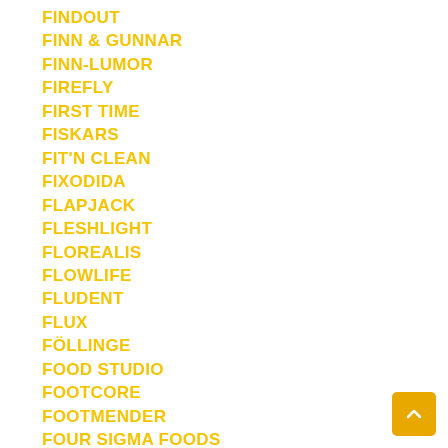FINDOUT
FINN & GUNNAR
FINN-LUMOR
FIREFLY
FIRST TIME
FISKARS
FIT'N CLEAN
FIXODIDA
FLAPJACK
FLESHLIGHT
FLOREALIS
FLOWLIFE
FLUDENT
FLUX
FÖLLINGE
FOOD STUDIO
FOOTCORE
FOOTMENDER
FOUR SIGMA FOODS
FPPR.
FRESENIUS KABI
FRIGGS
FRISÖDGROSISSTEN